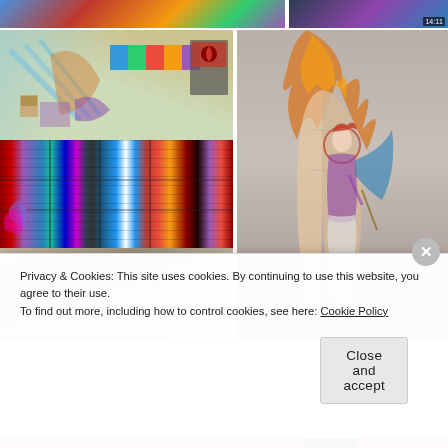[Figure (photo): Top strip: partial colorful artwork image on left, partial dark video thumbnail with timer '14:11' on right]
[Figure (illustration): Sketch/drawing showing colorful stained glass design sketches with flags and religious symbols on green background]
[Figure (photo): Close-up photograph of colorful stained glass window with red, blue, purple, white geometric patterns]
[Figure (illustration): Partial view of a pencil sketch showing an architectural arch or tomb drawing]
[Figure (illustration): Large illustration/painting of an angel figure with orange flame and shield on grey background]
Privacy & Cookies: This site uses cookies. By continuing to use this website, you agree to their use.
To find out more, including how to control cookies, see here: Cookie Policy
Close and accept